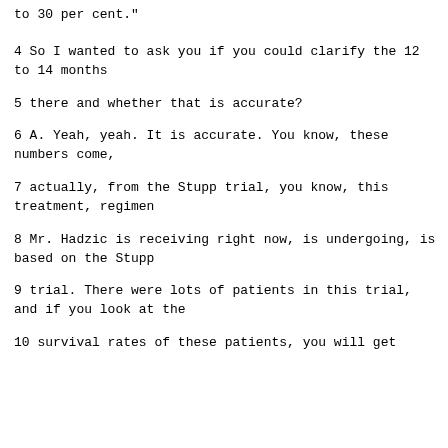to 30 per cent."
4            So I wanted to ask you if you could clarify the 12 to 14 months
5       there and whether that is accurate?
6       A.   Yeah, yeah.  It is accurate.  You know, these numbers come,
7       actually, from the Stupp trial, you know, this treatment, regimen
8       Mr. Hadzic is receiving right now, is undergoing, is based on the Stupp
9       trial.  There were lots of patients in this trial, and if you look at the
10       survival rates of these patients, you will get